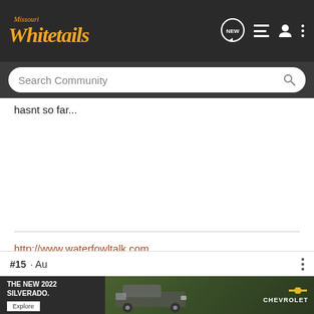Missouri Whitetails
hasnt so far...
http://www.waterfowltalk.com
Thayer · Registered
Joined Dec 17, 2005 · 3,898 Posts
#15 · Au...
[Figure (screenshot): Advertisement for The New 2022 Silverado by Chevrolet with Explore button]